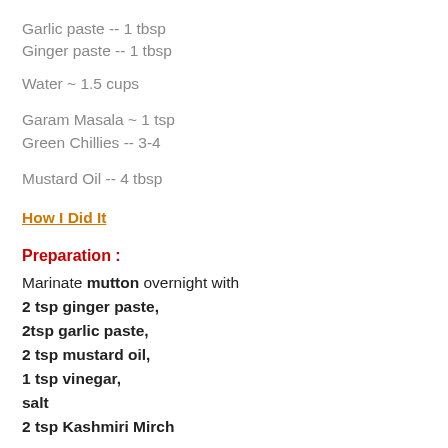Garlic paste -- 1 tbsp
Ginger paste -- 1 tbsp
Water ~ 1.5 cups
Garam Masala ~ 1 tsp
Green Chillies -- 3-4
Mustard Oil -- 4 tbsp
How I Did It
Preparation :
Marinate mutton overnight with
2 tsp ginger paste,
2tsp garlic paste,
2 tsp mustard oil,
1 tsp vinegar,
salt
2 tsp Kashmiri Mirch